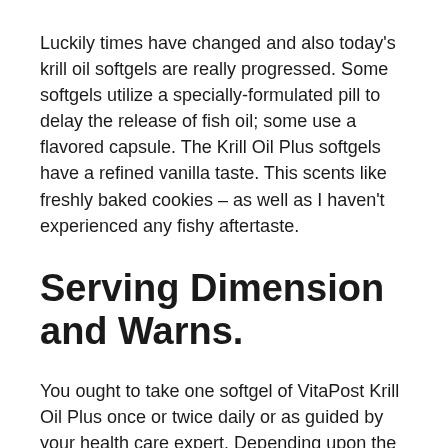Luckily times have changed and also today's krill oil softgels are really progressed. Some softgels utilize a specially-formulated pill to delay the release of fish oil; some use a flavored capsule. The Krill Oil Plus softgels have a refined vanilla taste. This scents like freshly baked cookies – as well as I haven't experienced any fishy aftertaste.
Serving Dimension and Warns.
You ought to take one softgel of VitaPost Krill Oil Plus once or twice daily or as guided by your health care expert. Depending upon the amount of pills you take per day, one bottle